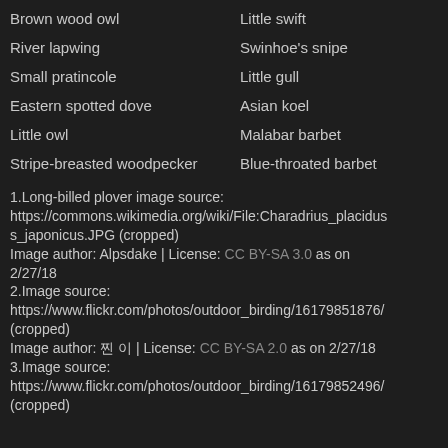Brown wood owl | Little swift
River lapwing | Swinhoe's snipe
Small pratincole | Little gull
Eastern spotted dove | Asian koel
Little owl | Malabar barbet
Stripe-breasted woodpecker | Blue-throated barbet
1.Long-billed plover image source: https://commons.wikimedia.org/wiki/File:Charadrius_placidus_japonicus.JPG (cropped)
Image author: Alpsdake | License: CC BY-SA 3.0 as on 2/27/18
2.Image source: https://www.flickr.com/photos/outdoor_birding/16179851876/ (cropped)
Image author: 찐 이 | License: CC BY-SA 2.0 as on 2/27/18
3.Image source: https://www.flickr.com/photos/outdoor_birding/16179852496/ (cropped)